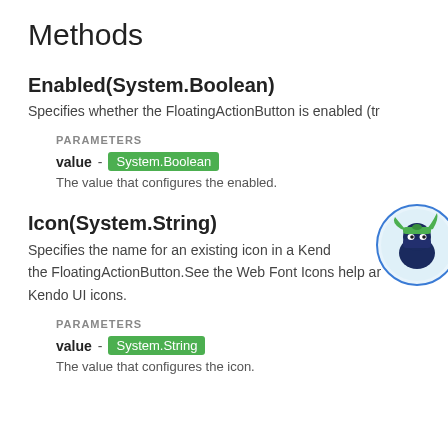Methods
Enabled(System.Boolean)
Specifies whether the FloatingActionButton is enabled (tr
PARAMETERS
value - System.Boolean
The value that configures the enabled.
Icon(System.String)
Specifies the name for an existing icon in a Kendo the FloatingActionButton.See the Web Font Icons help art Kendo UI icons.
PARAMETERS
value - System.String
The value that configures the icon.